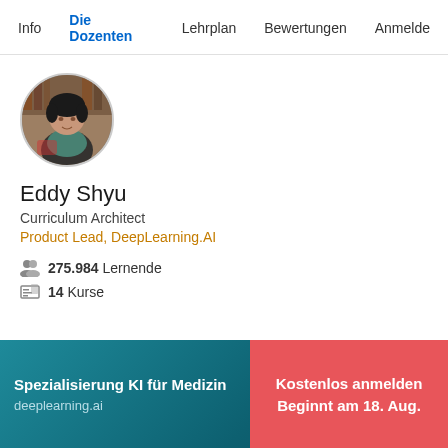Info  Die Dozenten  Lehrplan  Bewertungen  Anmelde
[Figure (photo): Circular profile photo of Eddy Shyu, a person seated in what appears to be a café or library setting]
Eddy Shyu
Curriculum Architect
Product Lead, DeepLearning.AI
275.984 Lernende
14 Kurse
Spezialisierung KI für Medizin
deeplearning.ai
Kostenlos anmelden
Beginnt am 18. Aug.